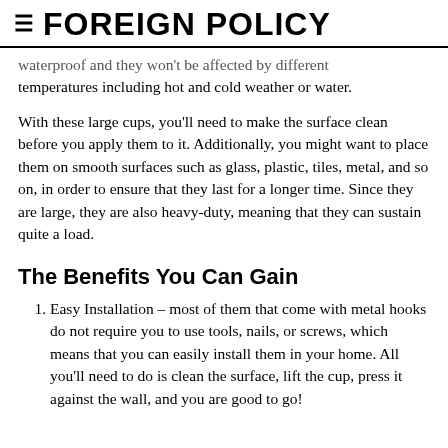≡ FOREIGN POLICY
waterproof and they won't be affected by different temperatures including hot and cold weather or water.
With these large cups, you'll need to make the surface clean before you apply them to it. Additionally, you might want to place them on smooth surfaces such as glass, plastic, tiles, metal, and so on, in order to ensure that they last for a longer time. Since they are large, they are also heavy-duty, meaning that they can sustain quite a load.
The Benefits You Can Gain
Easy Installation – most of them that come with metal hooks do not require you to use tools, nails, or screws, which means that you can easily install them in your home. All you'll need to do is clean the surface, lift the cup, press it against the wall, and you are good to go!